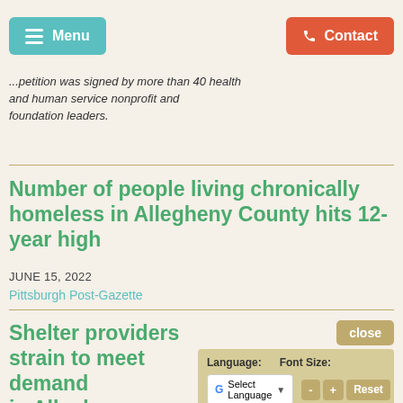Menu | Contact
...petition was signed by more than 40 health and human service nonprofit and foundation leaders.
Number of people living chronically homeless in Allegheny County hits 12-year high
JUNE 15, 2022
Pittsburgh Post-Gazette
Shelter providers strain to meet demand in Allegheny County. Will a new facility address the homeless crisis, or is it not enough?